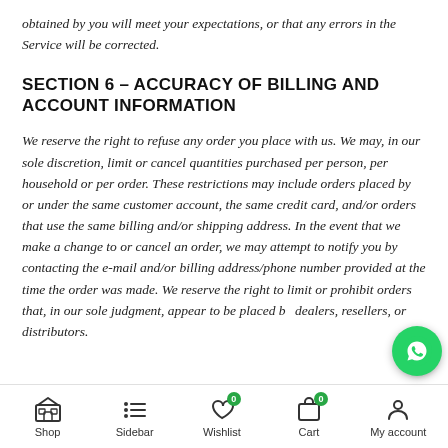obtained by you will meet your expectations, or that any errors in the Service will be corrected.
SECTION 6 – ACCURACY OF BILLING AND ACCOUNT INFORMATION
We reserve the right to refuse any order you place with us. We may, in our sole discretion, limit or cancel quantities purchased per person, per household or per order. These restrictions may include orders placed by or under the same customer account, the same credit card, and/or orders that use the same billing and/or shipping address. In the event that we make a change to or cancel an order, we may attempt to notify you by contacting the e-mail and/or billing address/phone number provided at the time the order was made. We reserve the right to limit or prohibit orders that, in our sole judgment, appear to be placed by dealers, resellers, or distributors.
Shop | Sidebar | Wishlist 0 | Cart 0 | My account